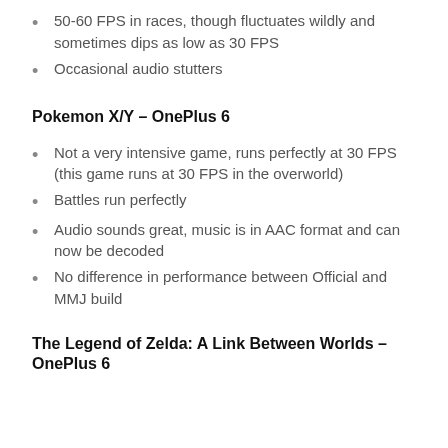50-60 FPS in races, though fluctuates wildly and sometimes dips as low as 30 FPS
Occasional audio stutters
Pokemon X/Y – OnePlus 6
Not a very intensive game, runs perfectly at 30 FPS (this game runs at 30 FPS in the overworld)
Battles run perfectly
Audio sounds great, music is in AAC format and can now be decoded
No difference in performance between Official and MMJ build
The Legend of Zelda: A Link Between Worlds – OnePlus 6
Consistent in the 40-60 FPS range